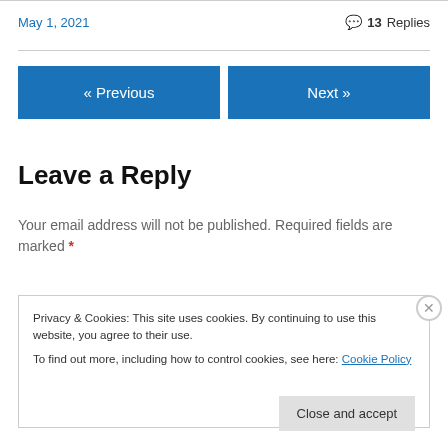May 1, 2021
💬 13 Replies
« Previous
Next »
Leave a Reply
Your email address will not be published. Required fields are marked *
Privacy & Cookies: This site uses cookies. By continuing to use this website, you agree to their use.
To find out more, including how to control cookies, see here: Cookie Policy